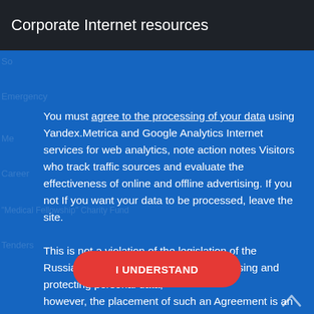Corporate Internet resources
You must agree to the processing of your data using Yandex.Metrica and Google Analytics Internet services for web analytics, note action notes Visitors who track traffic sources and evaluate the effectiveness of online and offline advertising. If you not If you want your data to be processed, leave the site.
This is not a violation of the legislation of the Russian Federation in the field of processing and protecting personal data,
however, the placement of such an Agreement is an example of best practice.
I UNDERSTAND